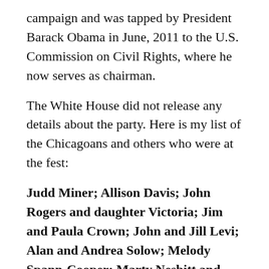campaign and was tapped by President Barack Obama in June, 2011 to the U.S. Commission on Civil Rights, where he now serves as chairman.
The White House did not release any details about the party. Here is my list of the Chicagoans and others who were at the fest:
Judd Miner; Allison Davis; John Rogers and daughter Victoria; Jim and Paula Crown; John and Jill Levi; Alan and Andrea Solow; Melody Spann-Cooper; Marty Nesbitt and Anita Blanchard; Jennifer Hudson; Eric and Cheryl Whitaker; Laura Ricketts; Jesse and Michelle Ruiz.
As well as White House Senior Adviser Valerie Jarrett; her daughter, Laura; mother Barbara